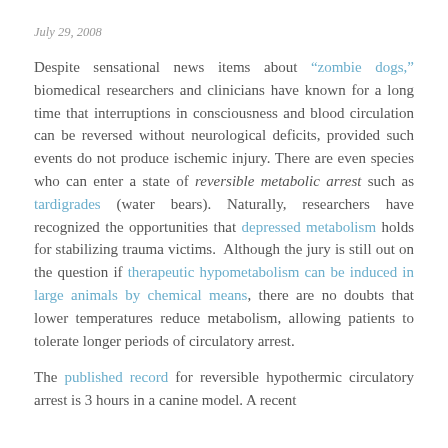July 29, 2008
Despite sensational news items about “zombie dogs,” biomedical researchers and clinicians have known for a long time that interruptions in consciousness and blood circulation can be reversed without neurological deficits, provided such events do not produce ischemic injury. There are even species who can enter a state of reversible metabolic arrest such as tardigrades (water bears). Naturally, researchers have recognized the opportunities that depressed metabolism holds for stabilizing trauma victims. Although the jury is still out on the question if therapeutic hypometabolism can be induced in large animals by chemical means, there are no doubts that lower temperatures reduce metabolism, allowing patients to tolerate longer periods of circulatory arrest.
The published record for reversible hypothermic circulatory arrest is 3 hours in a canine model. A recent